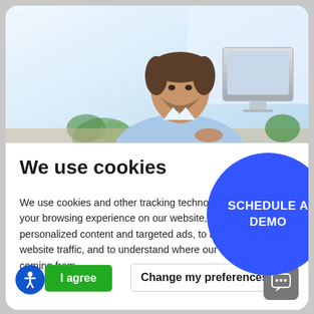[Figure (photo): A man in a light blue shirt sitting at a desk with a monitor, looking at camera, office background with plants and bright windows]
[Figure (other): Blue circular button overlay reading 'SCHEDULE A DEMO']
We use cookies
We use cookies and other tracking technologies to improve your browsing experience on our website, to show you personalized content and targeted ads, to analyze our website traffic, and to understand where our visitors are coming from.
I agree
Change my preferences